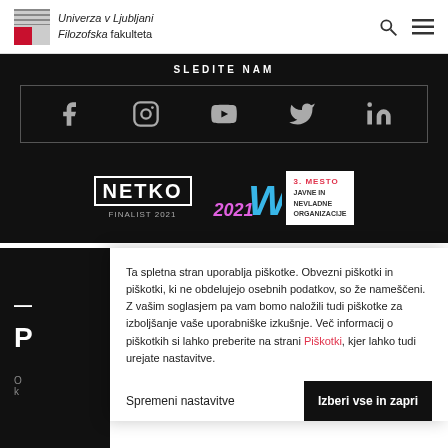Univerza v Ljubljani Filozofska fakulteta
SLEDITE NAM
[Figure (infographic): Social media icons: Facebook, Instagram, YouTube, Twitter, LinkedIn in a bordered box on black background]
[Figure (logo): NETKO FINALIST 2021 logo in white on black background]
[Figure (logo): 2021 W award badge: 3. MESTO, JAVNE IN NEVLADNE ORGANIZACIJE]
Ta spletna stran uporablja piškotke. Obvezni piškotki in piškotki, ki ne obdelujejo osebnih podatkov, so že nameščeni. Z vašim soglasjem pa vam bomo naložili tudi piškotke za izboljšanje vaše uporabniške izkušnje. Več informacij o piškotkih si lahko preberite na strani Piškotki, kjer lahko tudi urejate nastavitve.
Spremeni nastavitve
Izberi vse in zapri